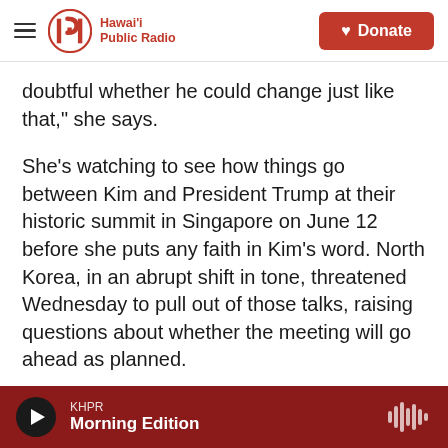Hawai'i Public Radio — Donate
doubtful whether he could change just like that," she says.
She's watching to see how things go between Kim and President Trump at their historic summit in Singapore on June 12 before she puts any faith in Kim's word. North Korea, in an abrupt shift in tone, threatened Wednesday to pull out of those talks, raising questions about whether the meeting will go ahead as planned.
"Most of us are a bit skeptical. North Korea has done so many bad things. They've lied so much,
KHPR Morning Edition